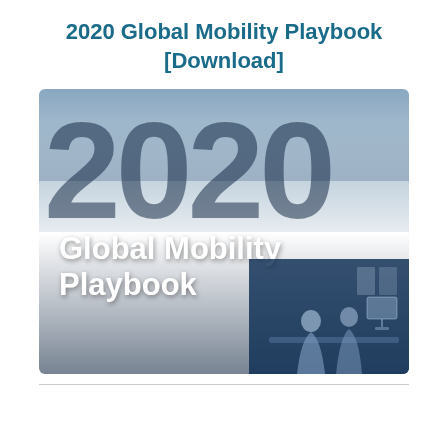2020 Global Mobility Playbook [Download]
[Figure (illustration): Cover image of the 2020 Global Mobility Playbook. Dark navy/teal blue background with large semi-transparent '2020' text. White bold text reads 'Global Mobility Playbook'. Bottom-right corner shows two people in a meeting room scene with a curved design element.]